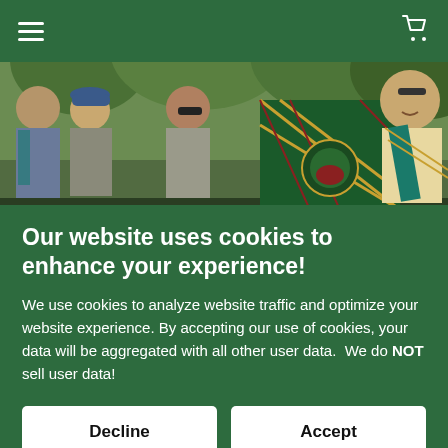☰  🛒
[Figure (photo): Group of people outdoors at what appears to be a Scottish/clan gathering. Several individuals wearing or holding tartan fabric, standing among trees. A man in a blue beret is prominent in the center-left.]
Our website uses cookies to enhance your experience!
We use cookies to analyze website traffic and optimize your website experience. By accepting our use of cookies, your data will be aggregated with all other user data.  We do NOT sell user data!
Decline
Accept